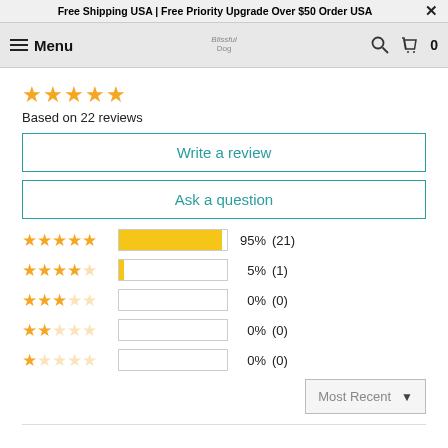Free Shipping USA | Free Priority Upgrade Over $50 Order USA
Menu | Blissful Dog | 0
[Figure (other): 5 gold stars rating]
Based on 22 reviews
Write a review
Ask a question
| Stars | Bar | Percent | Count |
| --- | --- | --- | --- |
| 5 stars | 95% | 95% | (21) |
| 4 stars | 5% | 5% | (1) |
| 3 stars | 0% | 0% | (0) |
| 2 stars | 0% | 0% | (0) |
| 1 star | 0% | 0% | (0) |
Most Recent